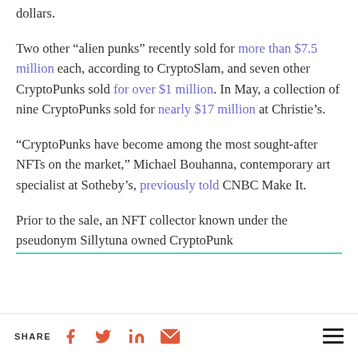dollars.
Two other “alien punks” recently sold for more than $7.5 million each, according to CryptoSlam, and seven other CryptoPunks sold for over $1 million. In May, a collection of nine CryptoPunks sold for nearly $17 million at Christie’s.
“CryptoPunks have become among the most sought-after NFTs on the market,” Michael Bouhanna, contemporary art specialist at Sotheby’s, previously told CNBC Make It.
Prior to the sale, an NFT collector known under the pseudonym Sillytuna owned CryptoPunk
SHARE [facebook] [twitter] [linkedin] [email] [menu]